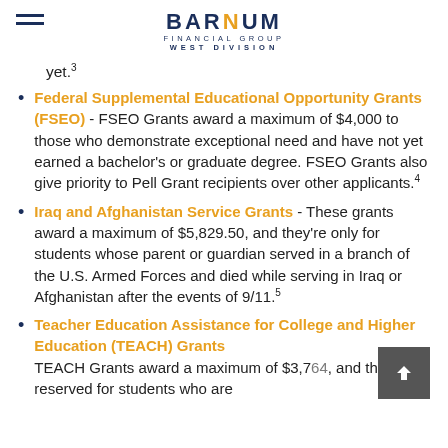BARNUM FINANCIAL GROUP WEST DIVISION
yet.³
Federal Supplemental Educational Opportunity Grants (FSEO) - FSEO Grants award a maximum of $4,000 to those who demonstrate exceptional need and have not yet earned a bachelor's or graduate degree. FSEO Grants also give priority to Pell Grant recipients over other applicants.⁴
Iraq and Afghanistan Service Grants - These grants award a maximum of $5,829.50, and they're only for students whose parent or guardian served in a branch of the U.S. Armed Forces and died while serving in Iraq or Afghanistan after the events of 9/11.⁵
Teacher Education Assistance for College and Higher Education (TEACH) Grants TEACH Grants award a maximum of $3,764, and they're reserved for students who are